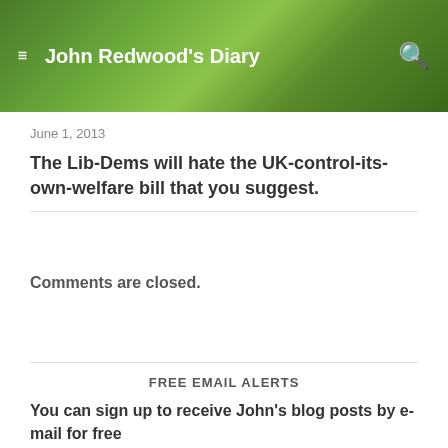John Redwood's Diary
June 1, 2013
The Lib-Dems will hate the UK-control-its-own-welfare bill that you suggest.
Comments are closed.
FREE EMAIL ALERTS
You can sign up to receive John's blog posts by e-mail for free